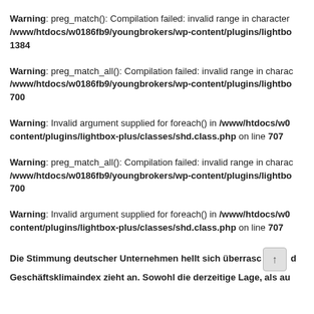Warning: preg_match(): Compilation failed: invalid range in character class at offset 4 in /www/htdocs/w0186fb9/youngbrokers/wp-content/plugins/lightbox-plus/classes/shd.class.php on line 1384
Warning: preg_match_all(): Compilation failed: invalid range in character class at offset 4 in /www/htdocs/w0186fb9/youngbrokers/wp-content/plugins/lightbox-plus/classes/shd.class.php on line 700
Warning: Invalid argument supplied for foreach() in /www/htdocs/w0186fb9/youngbrokers/wp-content/plugins/lightbox-plus/classes/shd.class.php on line 707
Warning: preg_match_all(): Compilation failed: invalid range in character class at offset 4 in /www/htdocs/w0186fb9/youngbrokers/wp-content/plugins/lightbox-plus/classes/shd.class.php on line 700
Warning: Invalid argument supplied for foreach() in /www/htdocs/w0186fb9/youngbrokers/wp-content/plugins/lightbox-plus/classes/shd.class.php on line 707
Die Stimmung deutscher Unternehmen hellt sich überraschend deutlich auf, der Geschäftsklimaindex zieht an. Sowohl die derzeitige Lage, als au...